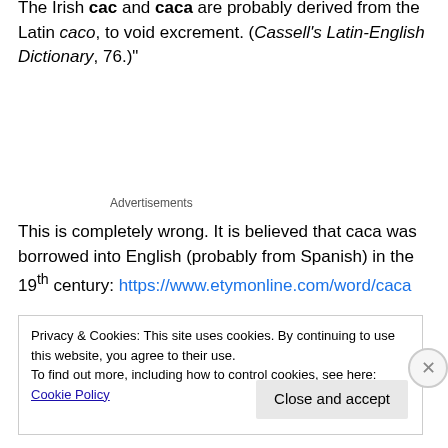The Irish cac and caca are probably derived from the Latin caco, to void excrement. (Cassell's Latin-English Dictionary, 76.)"
Advertisements
This is completely wrong. It is believed that caca was borrowed into English (probably from Spanish) in the 19th century: https://www.etymonline.com/word/caca
Privacy & Cookies: This site uses cookies. By continuing to use this website, you agree to their use.
To find out more, including how to control cookies, see here: Cookie Policy
Close and accept